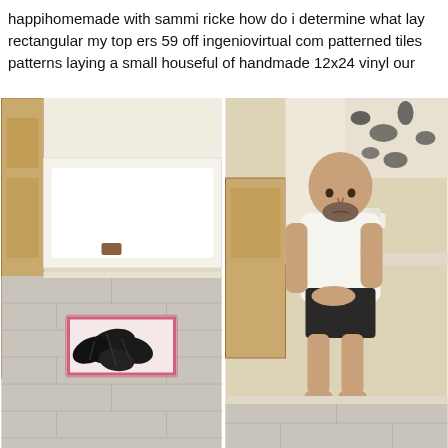happihomemade with sammi ricke how do i determine what lay rectangular my top ers 59 off ingeniovirtual com patterned tiles patterns laying a small houseful of handmade 12x24 vinyl our
[Figure (photo): Left photo: bathroom floor with light gray large-format vinyl/tile planks laid in a staggered pattern, a decorative rug with black floral/leaf design on pink background in the center, bathtub visible in background, wooden cabinet on left.]
[Figure (photo): Right photo: man with shaved head and beard, wearing white t-shirt and dark shorts, sitting on edge of bathtub or counter in bathroom, barefoot, hands clasped, looking downward. Same bathroom with gray plank-style tile floor, cow-print shower curtain in background.]